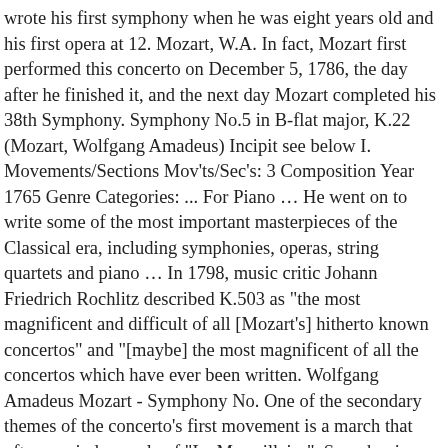wrote his first symphony when he was eight years old and his first opera at 12. Mozart, W.A. In fact, Mozart first performed this concerto on December 5, 1786, the day after he finished it, and the next day Mozart completed his 38th Symphony. Symphony No.5 in B-flat major, K.22 (Mozart, Wolfgang Amadeus) Incipit see below I. Movements/Sections Mov'ts/Sec's: 3 Composition Year 1765 Genre Categories: ... For Piano … He went on to write some of the most important masterpieces of the Classical era, including symphonies, operas, string quartets and piano … In 1798, music critic Johann Friedrich Rochlitz described K.503 as "the most magnificent and difficult of all [Mozart's] hitherto known concertos" and "[maybe] the most magnificent of all the concertos which have ever been written. Wolfgang Amadeus Mozart - Symphony No. One of the secondary themes of the concerto's first movement is a march that often reminds people of "La Marseillaise". Symphonies and operas were a lot more interchangeable in Vienna in 1767 than they are now. Yes, I'd like to receive freebies, product info, and teaching tips. 12 piano variations "Je suis Lindor" Artur Balsam. Follow. Girdlestone considers this movement to be very serious-minded. Also, Mozart's 25th and